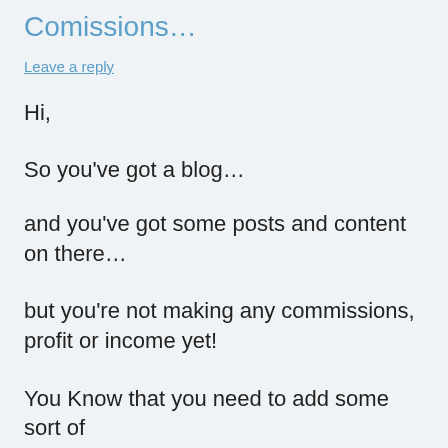Comissions…
Leave a reply
Hi,
So you've got a blog…
and you've got some posts and content on there…
but you're not making any commissions, profit or income yet!
You Know that you need to add some sort of